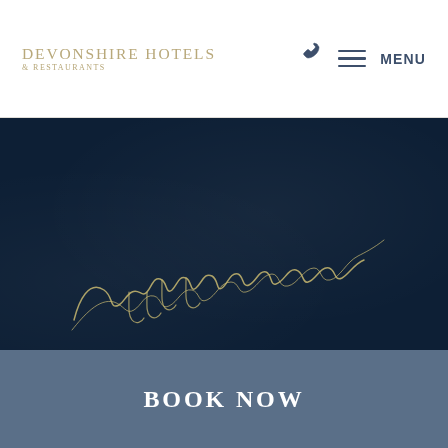Devonshire Hotels & Restaurants
[Figure (logo): Devonshire Hotels & Restaurants logo in gold/tan serif lettering with phone icon, hamburger menu lines, and MENU text in navy]
[Figure (photo): Dark navy blue textured background section with a gold cursive/signature script text overlay]
BOOK NOW